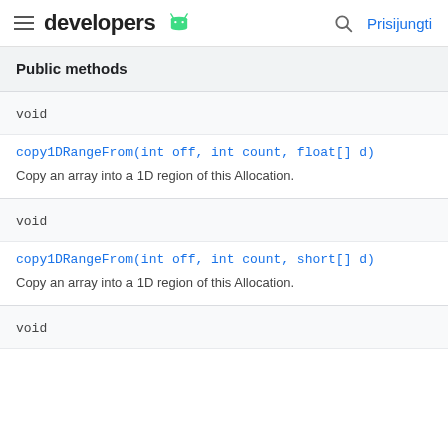developers | Prisijungti
| Return Type | Method |
| --- | --- |
| void | copy1DRangeFrom(int off, int count, float[] d)
Copy an array into a 1D region of this Allocation. |
| void | copy1DRangeFrom(int off, int count, short[] d)
Copy an array into a 1D region of this Allocation. |
| void |  |